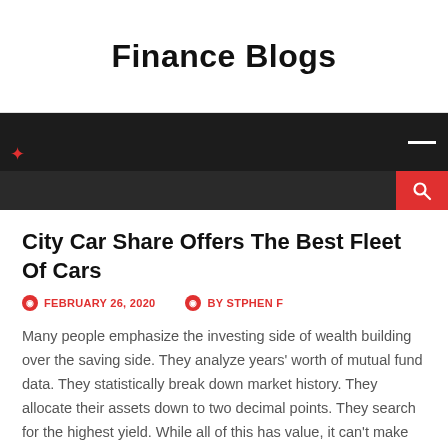Finance Blogs
[Figure (screenshot): Dark navigation bar with hamburger menu icon on the right top and a red search button on the bottom right. A small red icon is visible on the left side.]
City Car Share Offers The Best Fleet Of Cars
FEBRUARY 26, 2020   BY STPHEN F
Many people emphasize the investing side of wealth building over the saving side. They analyze years' worth of mutual fund data. They statistically break down market history. They allocate their assets down to two decimal points. They search for the highest yield. While all of this has value, it can't make up for not setting money aside to